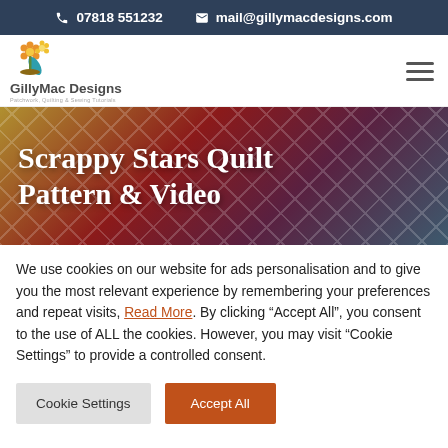07818 551232   mail@gillymacdesigns.com
[Figure (logo): GillyMac Designs logo with flower illustration and tagline 'Patchwork, Quilting & Sewing Tutorials']
Scrappy Stars Quilt Pattern & Video
We use cookies on our website for ads personalisation and to give you the most relevant experience by remembering your preferences and repeat visits, Read More. By clicking “Accept All”, you consent to the use of ALL the cookies. However, you may visit "Cookie Settings" to provide a controlled consent.
Cookie Settings
Accept All